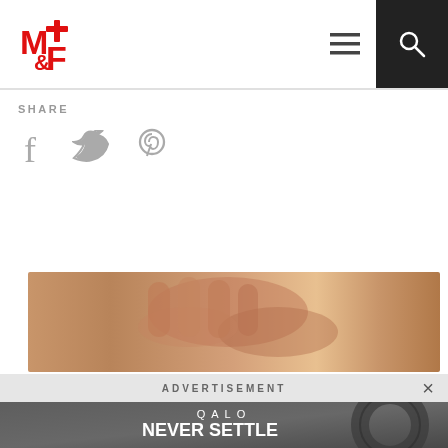[Figure (logo): Muscle & Fitness M&F red logo in top left header]
SHARE
[Figure (infographic): Social share icons: Facebook, Twitter, Pinterest]
[Figure (photo): Close-up photo of a fist or hand, skin texture visible]
ADVERTISEMENT
[Figure (infographic): QALO advertisement showing a black silicone wedding ring. Text: QALO, NEVER SETTLE, Functional Wedding Ring for an Active Lifestyle]